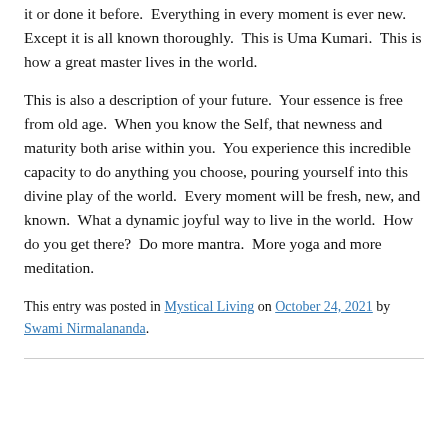it or done it before. Everything in every moment is ever new. Except it is all known thoroughly. This is Uma Kumari. This is how a great master lives in the world.
This is also a description of your future. Your essence is free from old age. When you know the Self, that newness and maturity both arise within you. You experience this incredible capacity to do anything you choose, pouring yourself into this divine play of the world. Every moment will be fresh, new, and known. What a dynamic joyful way to live in the world. How do you get there? Do more mantra. More yoga and more meditation.
This entry was posted in Mystical Living on October 24, 2021 by Swami Nirmalananda.